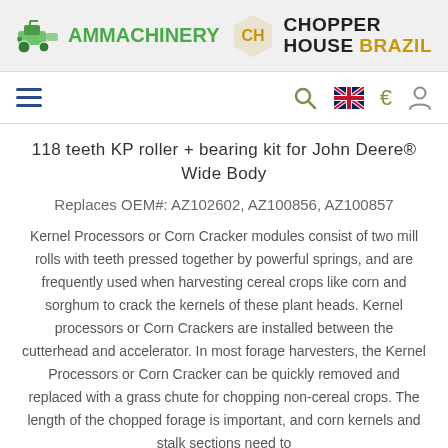[Figure (logo): AM Machinery logo with tractor/harvester icon in green and text 'AMMACHINERY' in green bold font]
[Figure (logo): Chopper House Brazil logo with hexagonal CH icon and bold text 'CHOPPER HOUSE BRAZIL' with Brazil in gold/orange]
[Figure (other): Navigation bar with hamburger menu icon, search icon, UK flag icon, Euro sign, and user account icon]
118 teeth KP roller + bearing kit for John Deere® Wide Body
Replaces OEM#: AZ102602, AZ100856, AZ100857
Kernel Processors or Corn Cracker modules consist of two mill rolls with teeth pressed together by powerful springs, and are frequently used when harvesting cereal crops like corn and sorghum to crack the kernels of these plant heads. Kernel processors or Corn Crackers are installed between the cutterhead and accelerator. In most forage harvesters, the Kernel Processors or Corn Cracker can be quickly removed and replaced with a grass chute for chopping non-cereal crops. The length of the chopped forage is important, and corn kernels and stalk sections need to